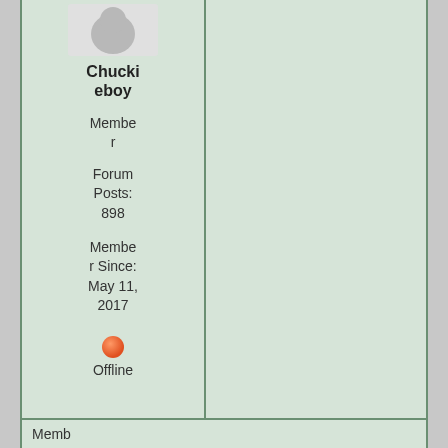Chuckieboy
Member
Forum Posts: 898
Member Since: May 11, 2017
[Figure (illustration): Orange/red circle indicating offline status]
Offline
9
I wish it would let me hit the button 5 times Lmao